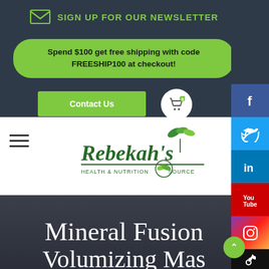SIGN UP FOR OUR NEWSLETTER
Spend $100 get free shipping with code FREESHIP100 at checkout!
Contact Us
[Figure (logo): Rebekah's Health & Nutrition Source logo with green leaf motif]
Mineral Fusion Volumizing Masque